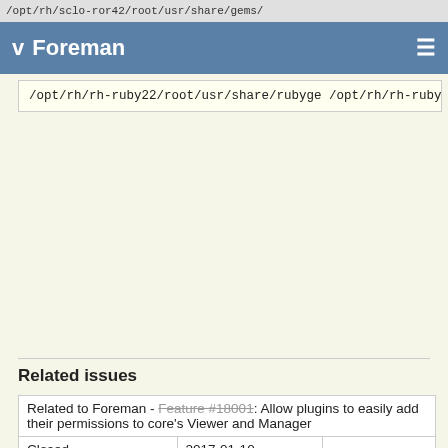/opt/rh/sclo-ror42/root/usr/share/gems/
v Foreman ≡
/opt/rh/rh-ruby22/root/usr/share/rubyge
/opt/rh/rh-ruby22/root/usr/share/rubyge
config.ru:3:in `block in <main>'
/opt/rh/sclo-ror42/root/usr/share/gems/
/opt/rh/sclo-ror42/root/usr/share/gems/
config.ru:1:in `new'
config.ru:1:in `<main>'
/usr/share/passenger/helper-scripts/rac
/usr/share/passenger/helper-scripts/rac
/usr/share/passenger/helper-scripts/rac
/usr/share/passenger/helper-scripts/rac
/usr/share/passenger/helper-scripts/rac
Error ID
a02be618
Related issues
|  |  |  |
| --- | --- | --- |
| Related to Foreman - Feature #18001: Allow plugins to easily add their permissions to core's Viewer and Manager |  |  |
| Closed | 2017-01-10 |  |